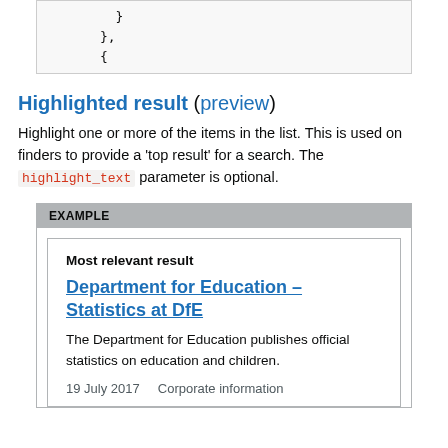}
  },
  {
Highlighted result (preview)
Highlight one or more of the items in the list. This is used on finders to provide a 'top result' for a search. The highlight_text parameter is optional.
[Figure (screenshot): Example box showing a 'Most relevant result' card with title 'Department for Education – Statistics at DfE', description text, and metadata '19 July 2017   Corporate information']